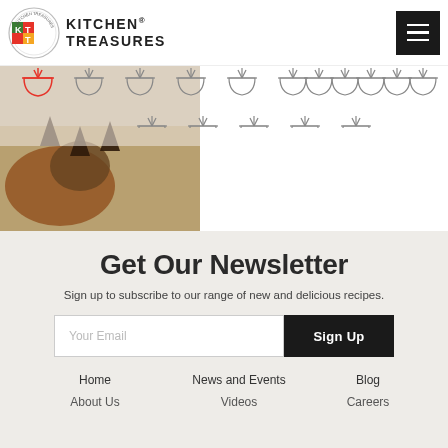[Figure (logo): Kitchen Treasures logo with KT badge and text]
[Figure (illustration): Menu/hamburger icon button in black square]
[Figure (illustration): Row of bowl/dish category icons]
[Figure (photo): Food/spice photo strip on left side]
Get Our Newsletter
Sign up to subscribe to our range of new and delicious recipes.
Your Email
Sign Up
Home
News and Events
Blog
About Us
Videos
Careers